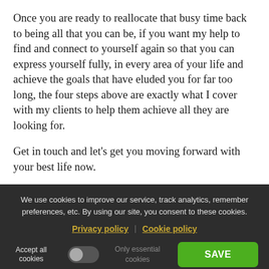Once you are ready to reallocate that busy time back to being all that you can be, if you want my help to find and connect to yourself again so that you can express yourself fully, in every area of your life and achieve the goals that have eluded you for far too long, the four steps above are exactly what I cover with my clients to help them achieve all they are looking for.
Get in touch and let's get you moving forward with your best life now.
We use cookies to improve our service, track analytics, remember preferences, etc. By using our site, you consent to these cookies.
Privacy policy | Cookie policy
Accept all cookies  [toggle]  Only essential cookies  SAVE